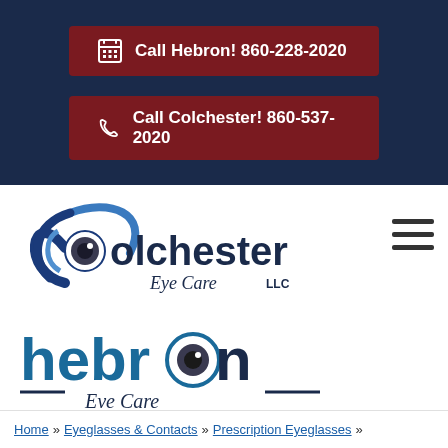Call Hebron! 860-228-2020
Call Colchester! 860-537-2020
[Figure (logo): Colchester Eye Care LLC and Hebron Eye Care combined logo with eye graphic]
Home » Eyeglasses & Contacts » Prescription Eyeglasses »